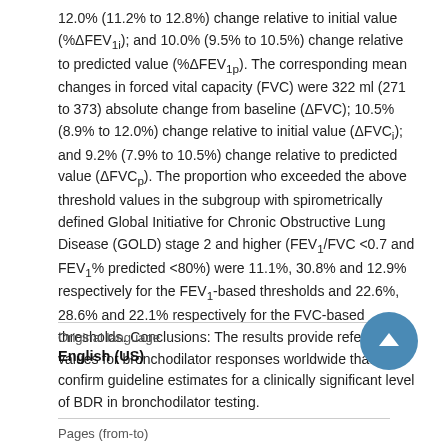12.0% (11.2% to 12.8%) change relative to initial value (%ΔFEV1i); and 10.0% (9.5% to 10.5%) change relative to predicted value (%ΔFEV1p). The corresponding mean changes in forced vital capacity (FVC) were 322 ml (271 to 373) absolute change from baseline (ΔFVC); 10.5% (8.9% to 12.0%) change relative to initial value (ΔFVCi); and 9.2% (7.9% to 10.5%) change relative to predicted value (ΔFVCp). The proportion who exceeded the above threshold values in the subgroup with spirometrically defined Global Initiative for Chronic Obstructive Lung Disease (GOLD) stage 2 and higher (FEV1/FVC <0.7 and FEV1% predicted <80%) were 11.1%, 30.8% and 12.9% respectively for the FEV1-based thresholds and 22.6%, 28.6% and 22.1% respectively for the FVC-based thresholds. Conclusions: The results provide reference values for bronchodilator responses worldwide that confirm guideline estimates for a clinically significant level of BDR in bronchodilator testing.
Original language
English (US)
Pages (from-to)